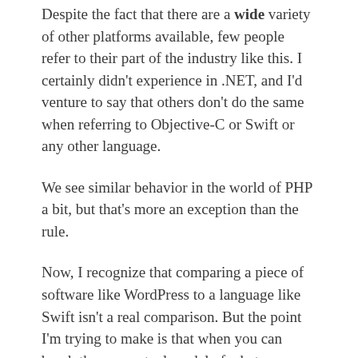Despite the fact that there are a wide variety of other platforms available, few people refer to their part of the industry like this. I certainly didn't experience in .NET, and I'd venture to say that others don't do the same when referring to Objective-C or Swift or any other language.
We see similar behavior in the world of PHP a bit, but that's more an exception than the rule.
Now, I recognize that comparing a piece of software like WordPress to a language like Swift isn't a real comparison. But the point I'm trying to make is that when you can break the conceptual model of what WordPress is to you it opens the eyes to just how wide it really reaches.
At this point, it seems almost natural that other authors might get into the social or political issues surrounding the software (which is cool, to be clear, but that's their